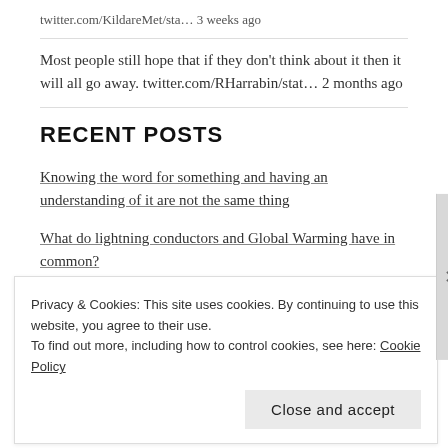twitter.com/KildareMet/sta… 3 weeks ago
Most people still hope that if they don't think about it then it will all go away. twitter.com/RHarrabin/stat… 2 months ago
RECENT POSTS
Knowing the word for something and having an understanding of it are not the same thing
What do lightning conductors and Global Warming have in common?
2016 ISTA Annual Conference
Privacy & Cookies: This site uses cookies. By continuing to use this website, you agree to their use.
To find out more, including how to control cookies, see here: Cookie Policy
Close and accept